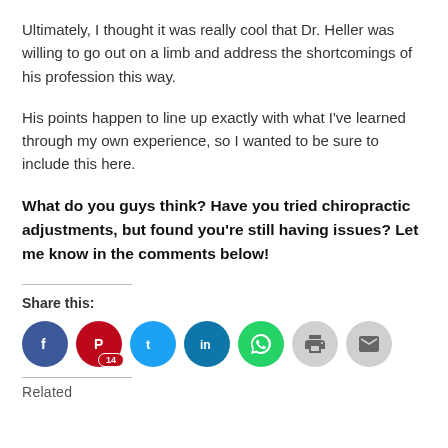Ultimately, I thought it was really cool that Dr. Heller was willing to go out on a limb and address the shortcomings of his profession this way.
His points happen to line up exactly with what I've learned through my own experience, so I wanted to be sure to include this here.
What do you guys think?  Have you tried chiropractic adjustments, but found you're still having issues?  Let me know in the comments below!
Share this:
[Figure (other): Row of social share icon buttons: Facebook, Pinterest (with badge 14), Twitter, LinkedIn, WhatsApp, Print, Email]
Related